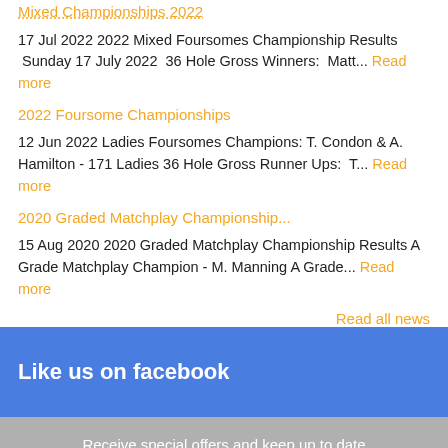Mixed Championships 2022
17 Jul 2022 2022 Mixed Foursomes Championship Results  Sunday 17 July 2022  36 Hole Gross Winners:  Matt... Read more
2022 Foursome Championships
12 Jun 2022 Ladies Foursomes Champions: T. Condon & A. Hamilton - 171 Ladies 36 Hole Gross Runner Ups:  T... Read more
2020 Graded Matchplay Championship...
15 Aug 2020 2020 Graded Matchplay Championship Results A Grade Matchplay Champion - M. Manning A Grade... Read more
Read all news
Like us on facebook
Receive special offers and keep up to date
Newsletter Sign up